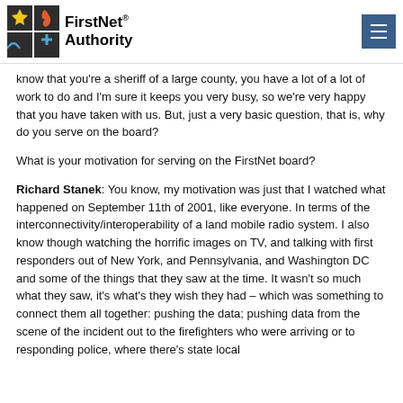FirstNet Authority
know that you're a sheriff of a large county, you have a lot of a lot of work to do and I'm sure it keeps you very busy, so we're very happy that you have taken with us. But, just a very basic question, that is, why do you serve on the board?
What is your motivation for serving on the FirstNet board?
Richard Stanek: You know, my motivation was just that I watched what happened on September 11th of 2001, like everyone. In terms of the interconnectivity/interoperability of a land mobile radio system. I also know though watching the horrific images on TV, and talking with first responders out of New York, and Pennsylvania, and Washington DC and some of the things that they saw at the time. It wasn't so much what they saw, it's what's they wish they had – which was something to connect them all together: pushing the data; pushing data from the scene of the incident out to the firefighters who were arriving or to responding police, where there's state local